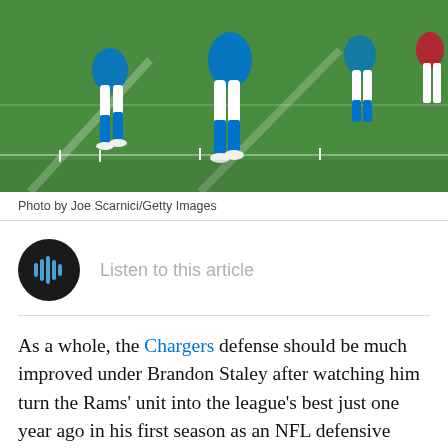[Figure (photo): NFL football players in Los Angeles Chargers blue and white uniforms running on a green field]
Photo by Joe Scarnici/Getty Images
[Figure (other): Audio player button — black circle with blue soundwave icon and text 'Listen to this article']
As a whole, the Chargers defense should be much improved under Brandon Staley after watching him turn the Rams' unit into the league's best just one year ago in his first season as an NFL defensive coordinator.